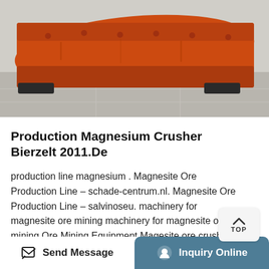[Figure (photo): Photo of large orange industrial cylindrical crusher/mill equipment lying on a concrete surface]
Production Magnesium Crusher Bierzelt 2011.De
production line magnesium . Magnesite Ore Production Line – schade-centrum.nl. Magnesite Ore Production Line – salvinoseu. machinery for magnesite ore mining machinery for magnesite ore mining Ore Mining Equipment Magesite ore crushing plant,production line in North Korea magesite ore overview magnesite is carbonate magnesium minerals, which is the main source of magnesium.